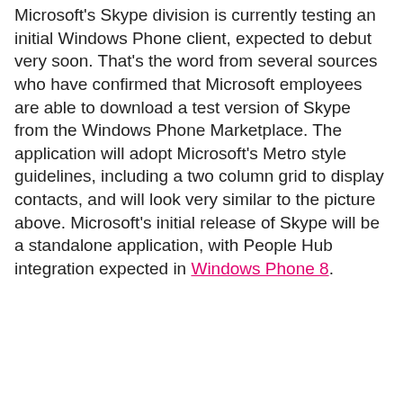Microsoft's Skype division is currently testing an initial Windows Phone client, expected to debut very soon. That's the word from several sources who have confirmed that Microsoft employees are able to download a test version of Skype from the Windows Phone Marketplace. The application will adopt Microsoft's Metro style guidelines, including a two column grid to display contacts, and will look very similar to the picture above. Microsoft's initial release of Skype will be a standalone application, with People Hub integration expected in Windows Phone 8.